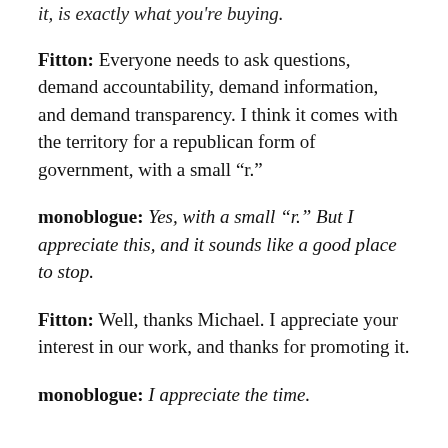it, is exactly what you're buying.
Fitton: Everyone needs to ask questions, demand accountability, demand information, and demand transparency. I think it comes with the territory for a republican form of government, with a small “r.”
monoblogue: Yes, with a small “r.” But I appreciate this, and it sounds like a good place to stop.
Fitton: Well, thanks Michael. I appreciate your interest in our work, and thanks for promoting it.
monoblogue: I appreciate the time.